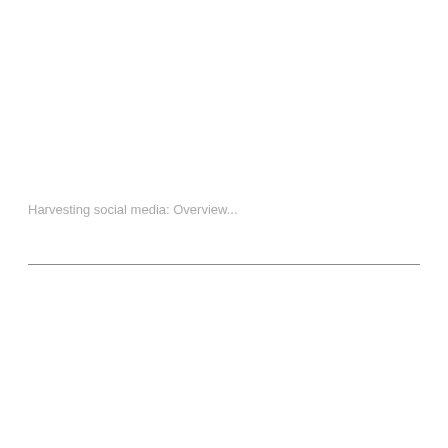Harvesting social media: Overview...